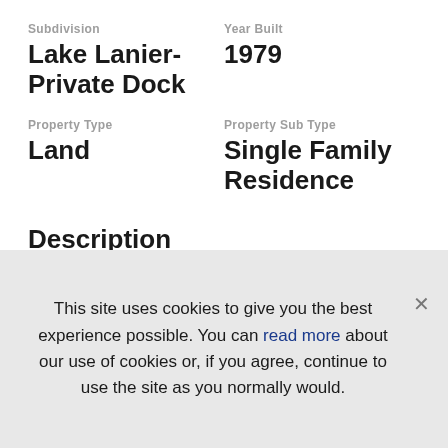Subdivision
Lake Lanier-Private Dock
Year Built
1979
Property Type
Land
Property Sub Type
Single Family Residence
Description
This site uses cookies to give you the best experience possible. You can read more about our use of cookies or, if you agree, continue to use the site as you normally would.